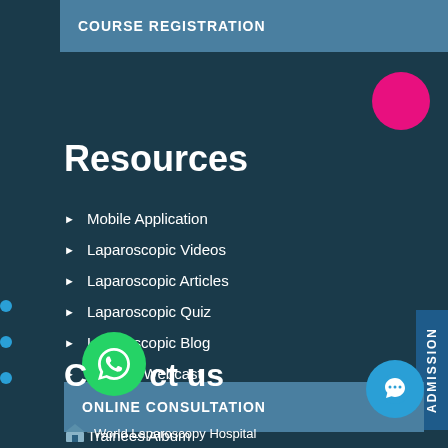COURSE REGISTRATION
Resources
Mobile Application
Laparoscopic Videos
Laparoscopic Articles
Laparoscopic Quiz
Laparoscopic Blog
Surgery Webcast
Laparoscopic News
Trainees Album
ONLINE CONSULTATION
Contact us
World Laparoscopy Hospital